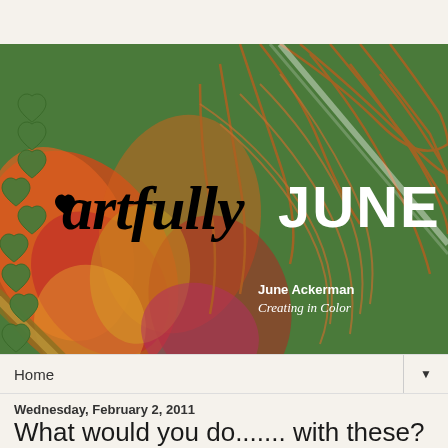[Figure (illustration): Blog banner image for 'artfully JUNE' by June Ackerman. Green decorative background with heart cutout patterns and colorful leaf imagery. Text reads 'artfully JUNE' in large script and serif font, with 'June Ackerman Creating in Color' in the lower right.]
Home
Wednesday, February 2, 2011
What would you do....... with these?